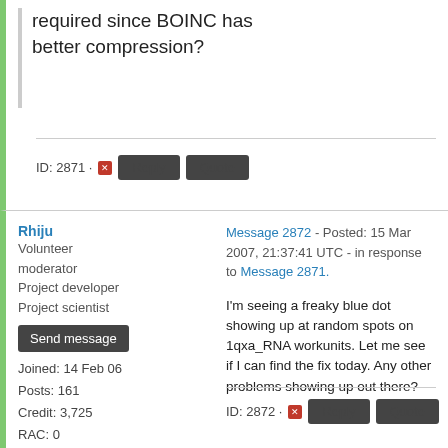required since BOINC has better compression?
ID: 2871 · Reply Quote
Rhiju
Volunteer moderator
Project developer
Project scientist
Message 2872 - Posted: 15 Mar 2007, 21:37:41 UTC - in response to Message 2871.
Send message
Joined: 14 Feb 06
Posts: 161
Credit: 3,725
RAC: 0
I'm seeing a freaky blue dot showing up at random spots on 1qxa_RNA workunits. Let me see if I can find the fix today. Any other problems showing up out there?
ID: 2872 · Reply Quote